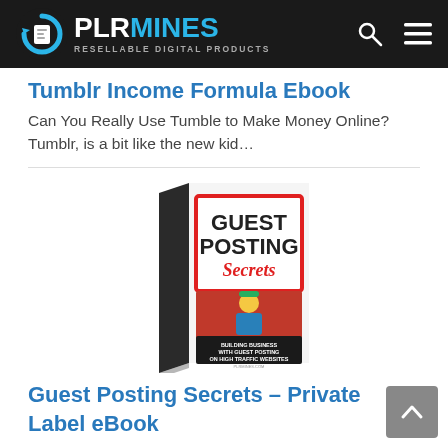PLRMINES – RESELLABLE DIGITAL PRODUCTS
Tumblr Income Formula Ebook
Can You Really Use Tumble to Make Money Online? Tumblr, is a bit like the new kid…
[Figure (illustration): Book cover for 'Guest Posting Secrets – Building Business With Guest Posting On High Traffic Websites' from plrmines.com, shown as a 3D book with a red framed title area and a cartoon figure emerging from a laptop screen.]
Guest Posting Secrets – Private Label eBook
Building Business With Guest Posting On High Traffic…